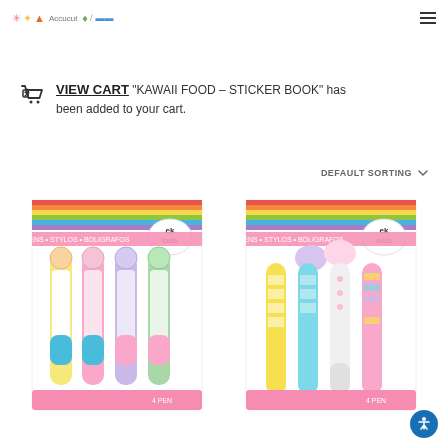Logo / site navigation header with hamburger menu
VIEW CART "KAWAII FOOD – STICKER BOOK" has been added to your cart.
DEFAULT SORTING
[Figure (photo): EK Tools pen set with kawaii animal toppers (cat, dog, paw, bunny themed), colorful striped packaging, 4-pen set]
[Figure (photo): EK Tools pen set with unicorn toppers, colorful striped pens in yellow, teal, white, pink, rainbow striped packaging, 4-pen set]